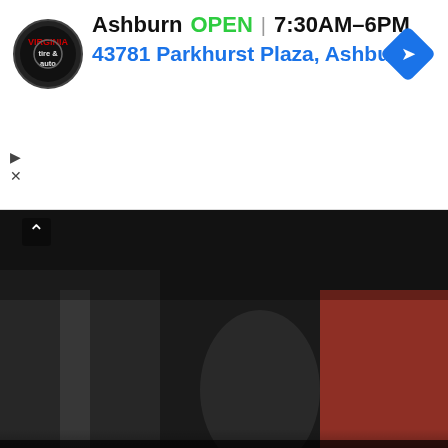[Figure (screenshot): Ad banner for tire & auto shop in Ashburn. Shows logo, OPEN status, hours 7:30AM-6PM, address 43781 Parkhurst Plaza Ashburn, and navigation arrow diamond icon.]
[Figure (photo): Dark news article card showing military/weapons imagery. Article titled: Slain NPA chief's son, wife killed in Bukidnon clash with military. Dated SEPTEMBER 5, 2022. Has carousel dots and scroll controls.]
THE SUN MONITOR © 2022. All Rights Reserved. Powered by WordPress. Theme by Alx.